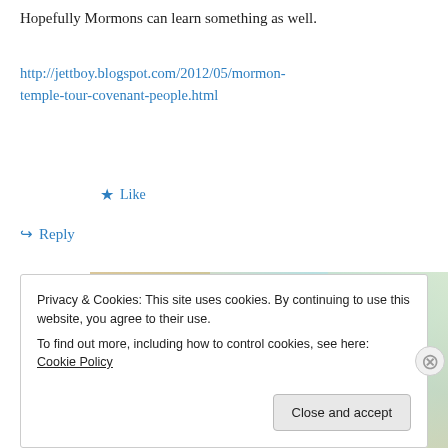Hopefully Mormons can learn something as well.
http://jettboy.blogspot.com/2012/05/mormon-temple-tour-covenant-people.html
★ Like
↪ Reply
[Figure (photo): WordPress VIP advertisement banner showing stationery/cards with text 'for very Important Content' and WordPress VIP logo with a 'Learn more' button.]
Privacy & Cookies: This site uses cookies. By continuing to use this website, you agree to their use.
To find out more, including how to control cookies, see here: Cookie Policy